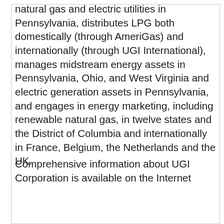natural gas and electric utilities in Pennsylvania, distributes LPG both domestically (through AmeriGas) and internationally (through UGI International), manages midstream energy assets in Pennsylvania, Ohio, and West Virginia and electric generation assets in Pennsylvania, and engages in energy marketing, including renewable natural gas, in twelve states and the District of Columbia and internationally in France, Belgium, the Netherlands and the UK.
Comprehensive information about UGI Corporation is available on the Internet